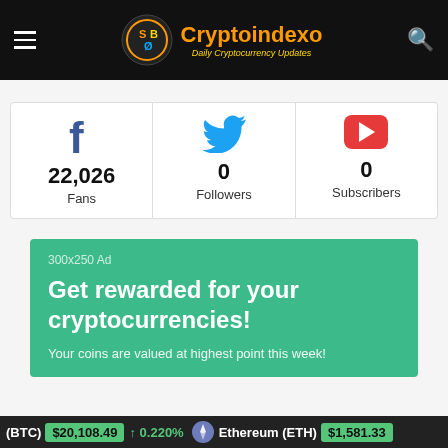Cryptoindexo — Daily Cryptocurrency Updates
[Figure (infographic): Social media follower counts: Facebook 22,026 Fans, Twitter 0 Followers, YouTube 0 Subscribers]
[Figure (infographic): 300x250 Ad — Get rewarded for your cryptocurrencies! Your coins are valued at highest point this week!]
(BTC) $20,108.49 ↑ 0.220% Ethereum (ETH) $1,581.33